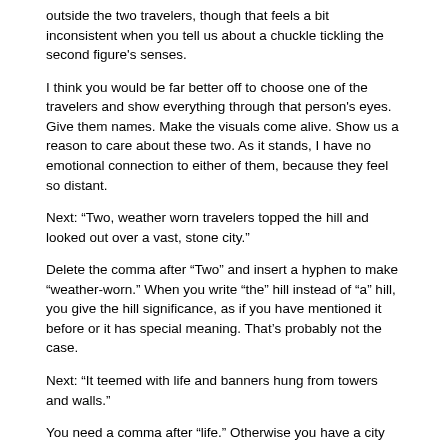outside the two travelers, though that feels a bit inconsistent when you tell us about a chuckle tickling the second figure's senses.
I think you would be far better off to choose one of the travelers and show everything through that person's eyes. Give them names. Make the visuals come alive. Show us a reason to care about these two. As it stands, I have no emotional connection to either of them, because they feel so distant.
Next: “Two, weather worn travelers topped the hill and looked out over a vast, stone city.”
Delete the comma after “Two” and insert a hyphen to make “weather-worn.” When you write “the” hill instead of “a” hill, you give the hill significance, as if you have mentioned it before or it has special meaning. That’s probably not the case.
Next: “It teemed with life and banners hung from towers and walls.”
You need a comma after “life.” Otherwise you have a city that is teeming with banners. What does teeming with life look like? Give more specific visuals.